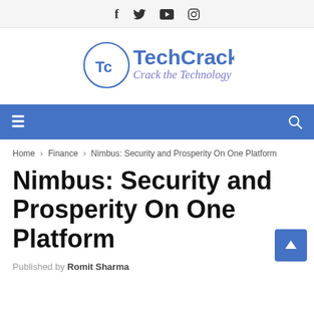Social icons: Facebook, Twitter, YouTube, Instagram
[Figure (logo): TechCrack – Crack the Technology logo with circular Tc emblem and blue stylized text]
Navigation bar with hamburger menu and search icon
Home > Finance > Nimbus: Security and Prosperity On One Platform
Nimbus: Security and Prosperity On One Platform
Published by Romit Sharma